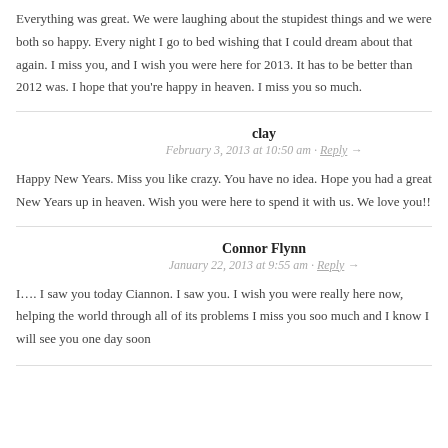Everything was great. We were laughing about the stupidest things and we were both so happy. Every night I go to bed wishing that I could dream about that again. I miss you, and I wish you were here for 2013. It has to be better than 2012 was. I hope that you're happy in heaven. I miss you so much.
clay
February 3, 2013 at 10:50 am · Reply →
Happy New Years. Miss you like crazy. You have no idea. Hope you had a great New Years up in heaven. Wish you were here to spend it with us. We love you!!
Connor Flynn
January 22, 2013 at 9:55 am · Reply →
I…. I saw you today Ciannon. I saw you. I wish you were really here now, helping the world through all of its problems I miss you soo much and I know I will see you one day soon